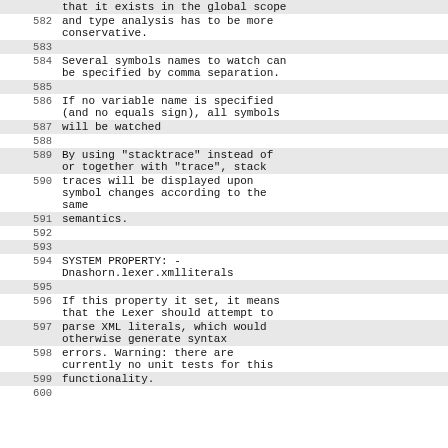| line | code |
| --- | --- |
|  | that it exists in the global scope |
| 582 | and type analysis has to be more conservative. |
| 583 |  |
| 584 | Several symbols names to watch can be specified by comma separation. |
| 585 |  |
| 586 | If no variable name is specified (and no equals sign), all symbols |
| 587 | will be watched |
| 588 |  |
| 589 | By using "stacktrace" instead of or together with "trace", stack |
| 590 | traces will be displayed upon symbol changes according to the same |
| 591 | semantics. |
| 592 |  |
| 593 |  |
| 594 | SYSTEM PROPERTY: -Dnashorn.lexer.xmlliterals |
| 595 |  |
| 596 | If this property it set, it means that the Lexer should attempt to |
| 597 | parse XML literals, which would otherwise generate syntax |
| 598 | errors. Warning: there are currently no unit tests for this |
| 599 | functionality. |
| 600 |  |